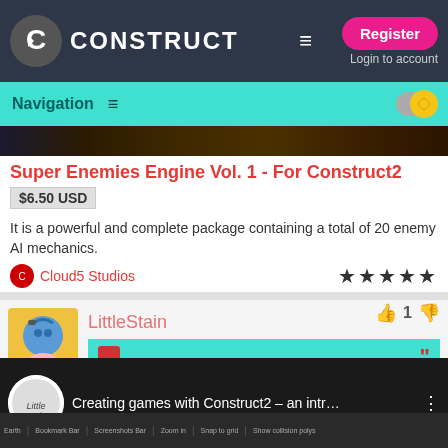CONSTRUCT — Register / Login to account
Navigation
[Figure (screenshot): Dark game preview banner strip]
Super Enemies Engine Vol. 1 - For Construct2
$6.50 USD
It is a powerful and complete package containing a total of 20 enemy AI mechanics.
Cloud5 Studios
★★★★★
LittleStain — 1 vote
Follow this link to see:
[Figure (screenshot): YouTube video thumbnail: Creating games with Construct2 - an intr... with game engine toolbar visible below]